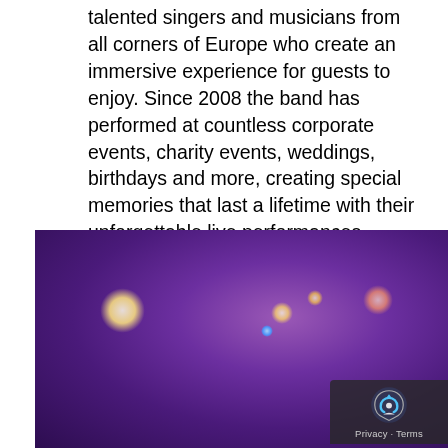talented singers and musicians from all corners of Europe who create an immersive experience for guests to enjoy. Since 2008 the band has performed at countless corporate events, charity events, weddings, birthdays and more, creating special memories that last a lifetime with their unforgettable live performances. TFB was the brainchild of Managing Director, Dan Rosen, who has over 18 years of experience in the events industry, along with his father and business partner, Bradley.
[Figure (photo): Two male musicians performing live on stage at an event venue with purple/violet ambient lighting. The man in the foreground is singing into a microphone, wearing a navy blue vest and dark tie over a white shirt. The man in the background is playing guitar and wearing a suit with a tie. Warm stage lights are visible in the background. A reCAPTCHA 'Privacy · Terms' badge appears in the bottom right corner.]